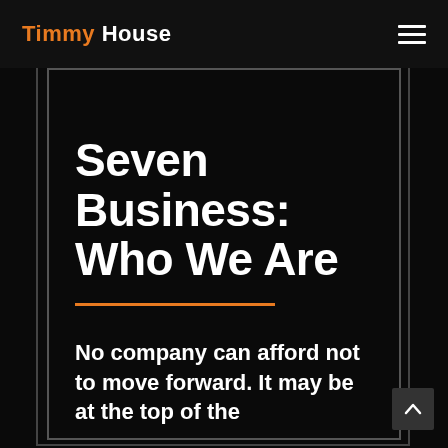Timmy House
Seven Business: Who We Are
No company can afford not to move forward. It may be at the top of the